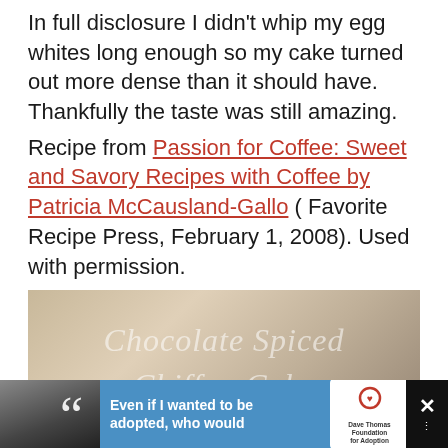In full disclosure I didn't whip my egg whites long enough so my cake turned out more dense than it should have. Thankfully the taste was still amazing.
Recipe from Passion for Coffee: Sweet and Savory Recipes with Coffee by Patricia McCausland-Gallo ( Favorite Recipe Press, February 1, 2008). Used with permission.
[Figure (photo): Close-up photo of a wooden surface with the handwritten-style text 'Chocolate Spiced Chiffon Cake' overlaid, with a piece of dark chocolate cake visible at the bottom]
[Figure (infographic): Advertisement banner at the bottom of the page with a black and white photo of a woman, a blue background with bold text 'Even if I wanted to be adopted, who would', Dave Thomas Foundation for Adoption logo, and close buttons]